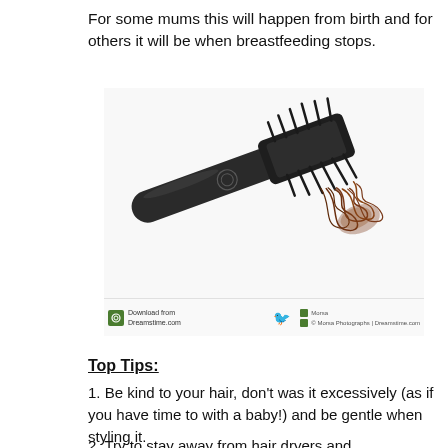For some mums this will happen from birth and for others it will be when breastfeeding stops.
[Figure (photo): A black hair brush with brown hair tangled at the bristle end, shown on a white background. Watermark from Dreamstime.com is visible.]
Top Tips:
1. Be kind to your hair, don't was it excessively (as if you have time to with a baby!) and be gentle when styling it.
2. Try to stay away from hair dryers and straighteners, chemicals and treatments for a while